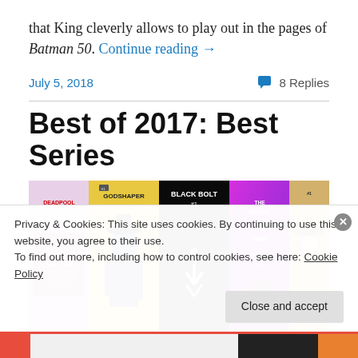that King cleverly allows to play out in the pages of Batman 50. Continue reading →
July 5, 2018   💬 8 Replies
Best of 2017: Best Series
[Figure (photo): Row of comic book covers including Deadpool, Godshaper, Black Bolt, The Wicked + The Divine, and another title]
Privacy & Cookies: This site uses cookies. By continuing to use this website, you agree to their use. To find out more, including how to control cookies, see here: Cookie Policy
Close and accept